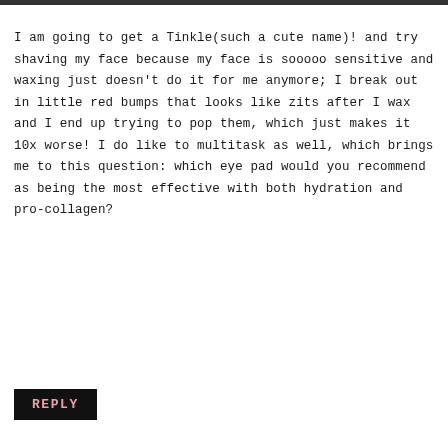I am going to get a Tinkle(such a cute name)! and try shaving my face because my face is sooooo sensitive and waxing just doesn't do it for me anymore; I break out in little red bumps that looks like zits after I wax and I end up trying to pop them, which just makes it 10x worse! I do like to multitask as well, which brings me to this question: which eye pad would you recommend as being the most effective with both hydration and pro-collagen?
REPLY